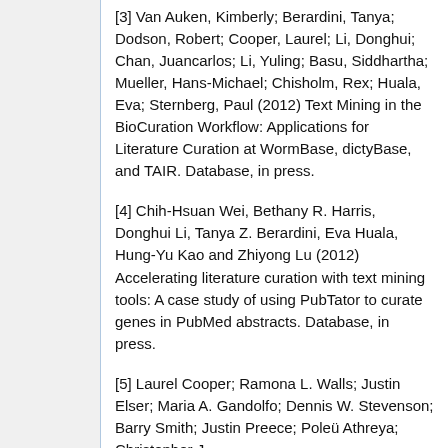[3] Van Auken, Kimberly; Berardini, Tanya; Dodson, Robert; Cooper, Laurel; Li, Donghui; Chan, Juancarlos; Li, Yuling; Basu, Siddhartha; Mueller, Hans-Michael; Chisholm, Rex; Huala, Eva; Sternberg, Paul (2012) Text Mining in the BioCuration Workflow: Applications for Literature Curation at WormBase, dictyBase, and TAIR. Database, in press.
[4] Chih-Hsuan Wei, Bethany R. Harris, Donghui Li, Tanya Z. Berardini, Eva Huala, Hung-Yu Kao and Zhiyong Lu (2012) Accelerating literature curation with text mining tools: A case study of using PubTator to curate genes in PubMed abstracts. Database, in press.
[5] Laurel Cooper; Ramona L. Walls; Justin Elser; Maria A. Gandolfo; Dennis W. Stevenson; Barry Smith; Justin Preece; Poleü Athreya; Christopher J.